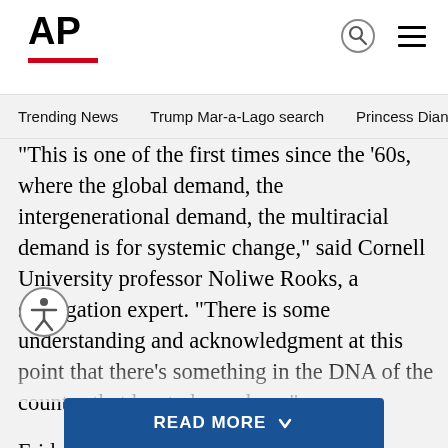AP
Trending News   Trump Mar-a-Lago search   Princess Diana's dea
“This is one of the first times since the ’60s, where the global demand, the intergenerational demand, the multiracial demand is for systemic change,” said Cornell University professor Noliwe Rooks, a segregation expert. “There is some understanding and acknowledgment at this point that there’s something in the DNA of the country that has to be undone.”
Friday’s celebrations will be marked from coast to coast with marches and demonstrations of civil disobedience, along with expressions of black joy in spite of an especially traumatic time for the nation. And like the nationwide protests that followed the police involved
READ MORE